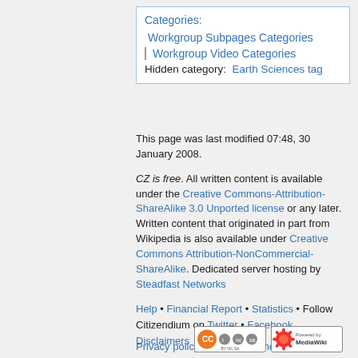Categories: Workgroup Subpages Categories | Workgroup Video Categories Hidden category: Earth Sciences tag
This page was last modified 07:48, 30 January 2008.
CZ is free. All written content is available under the Creative Commons-Attribution-ShareAlike 3.0 Unported license or any later. Written content that originated in part from Wikipedia is also available under Creative Commons Attribution-NonCommercial-ShareAlike. Dedicated server hosting by Steadfast Networks
Help • Financial Report • Statistics • Follow Citizendium on Twitter • Facebook
Privacy policy   About Citizendium
Disclaimers
[Figure (logo): Creative Commons BY-NC-SA badge]
[Figure (logo): Powered by MediaWiki badge]